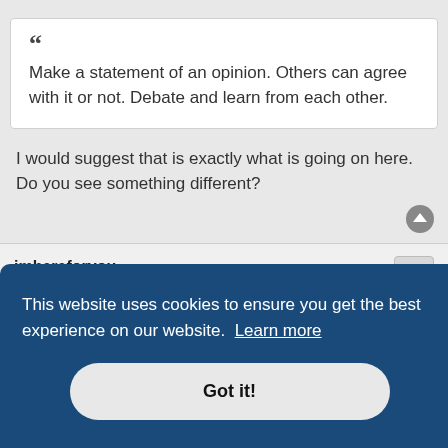“ Make a statement of an opinion. Others can agree with it or not. Debate and learn from each other.
I would suggest that is exactly what is going on here. Do you see something different?
imhereforyou
Scholar
This website uses cookies to ensure you get the best experience on our website. Learn more
Got it!
I’ve never really understood this comment. First,